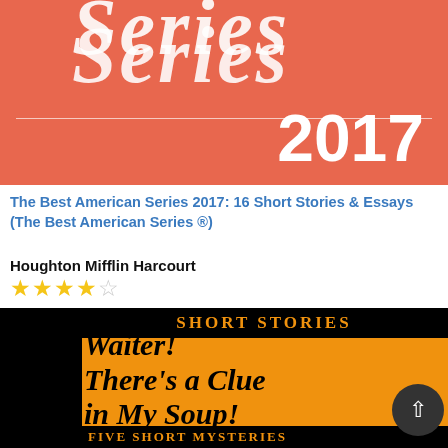[Figure (illustration): Top portion of a book cover for 'The Best American Series 2017' with salmon/coral background, italic script text reading 'Series' in white, and large bold '2017' in white, with a horizontal divider line]
The Best American Series 2017: 16 Short Stories & Essays (The Best American Series ®)
Houghton Mifflin Harcourt
★★★★☆
[Figure (illustration): Book cover for 'Waiter! There's a Clue in My Soup! Five Short Mysteries' with black and orange design, showing bold stylized text on orange background with 'Short Stories' header in orange on black at top, and 'Five Short Mysteries' at the bottom. A circular arrow icon appears in lower right. Bottom shows partial illustration of utensils.]